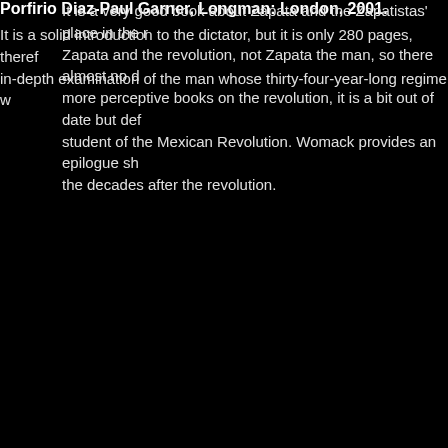It is a very good book about Zapata and the Zapatistas' place in the revolution. Zapata and the revolution, not Zapata the man, so there almost no d... more perceptive books on the revolution, it is a bit out of date but def... student of the Mexican Revolution. Womack provides an epilogue sh... the decades after the revolution.
Porfirio Diaz-Paul Garner, Longman: London, 2001.
It is a solid introduction to the dictator, but it is only 280 pages, theref... in-depth examination of the man whose thirty-four-year-long regime w...